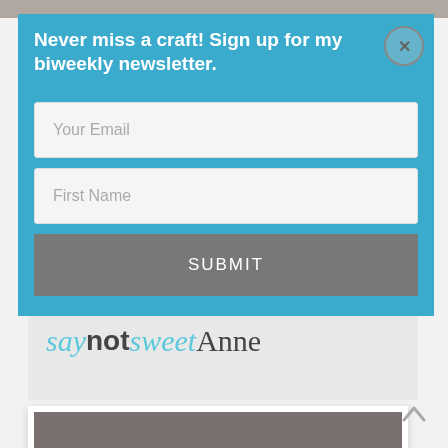Never miss a craft! Sign up for my biweekly newsletter.
Your Email
First Name
SUBMIT
[Figure (logo): say not sweet Anne blog logo in teal italic and dark serif fonts]
[Figure (photo): Partial view of a framed photo or content card at the bottom of the page]